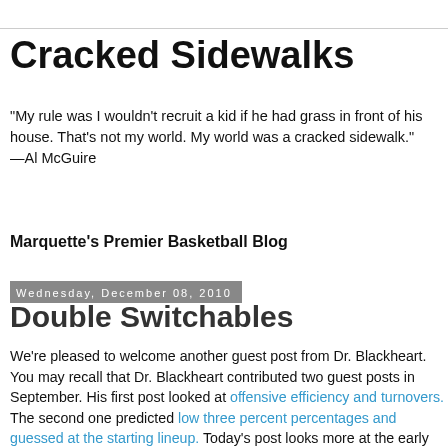Cracked Sidewalks
"My rule was I wouldn't recruit a kid if he had grass in front of his house. That's not my world. My world was a cracked sidewalk."
—Al McGuire
Marquette's Premier Basketball Blog
Wednesday, December 08, 2010
Double Switchables
We're pleased to welcome another guest post from Dr. Blackheart. You may recall that Dr. Blackheart contributed two guest posts in September. His first post looked at offensive efficiency and turnovers. The second one predicted low three percent percentages and guessed at the starting lineup. Today's post looks more at the early season trends and gazes into the crystal ball for the rest of the season.